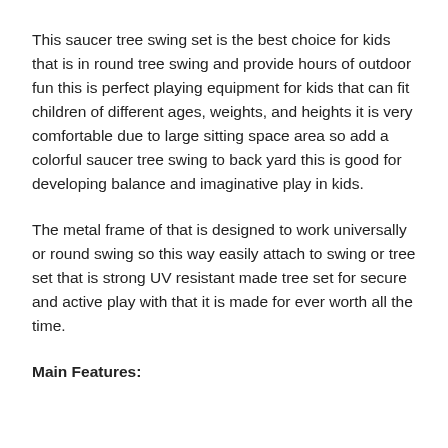This saucer tree swing set is the best choice for kids that is in round tree swing and provide hours of outdoor fun this is perfect playing equipment for kids that can fit children of different ages, weights, and heights it is very comfortable due to large sitting space area so add a colorful saucer tree swing to back yard this is good for developing balance and imaginative play in kids.
The metal frame of that is designed to work universally or round swing so this way easily attach to swing or tree set that is strong UV resistant made tree set for secure and active play with that it is made for ever worth all the time.
Main Features: